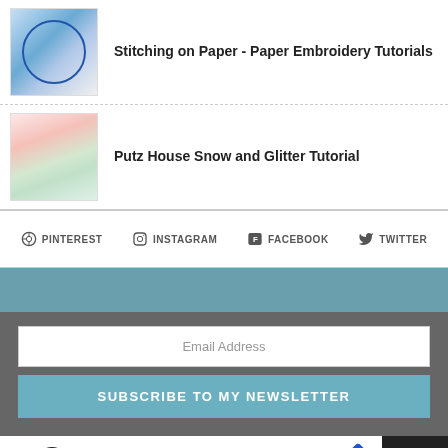Stitching on Paper - Paper Embroidery Tutorials
Putz House Snow and Glitter Tutorial
PINTEREST  INSTAGRAM  FACEBOOK  TWITTER
Email Address
SUBSCRIBE TO MY NEWSLETTER
Vienna  OPEN  10AM–7PM  136D Maple Ave W, Vienna